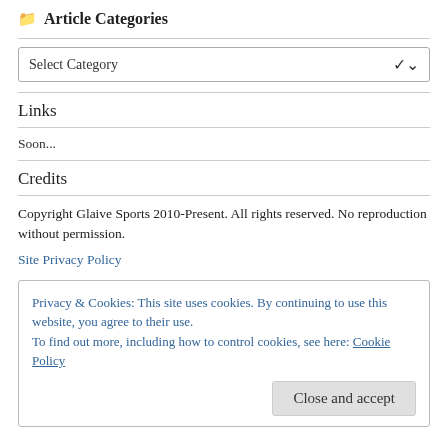📁 Article Categories
Select Category
Links
Soon...
Credits
Copyright Glaive Sports 2010-Present. All rights reserved. No reproduction without permission.
Site Privacy Policy
Privacy & Cookies: This site uses cookies. By continuing to use this website, you agree to their use.
To find out more, including how to control cookies, see here: Cookie Policy
Close and accept